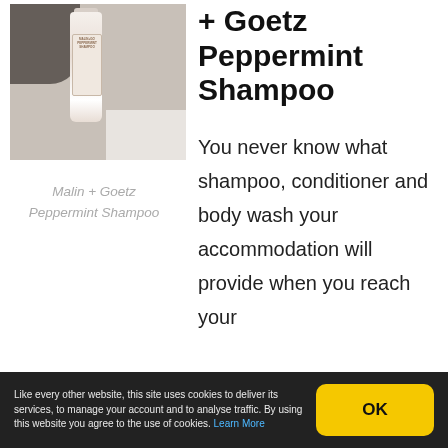[Figure (photo): A photo of a Malin + Goetz Peppermint Shampoo bottle, white cylindrical bottle with label, on a marble-like surface with dark background elements]
Malin + Goetz Peppermint Shampoo
+ Goetz Peppermint Shampoo
You never know what shampoo, conditioner and body wash your accommodation will provide when you reach your
Like every other website, this site uses cookies to deliver its services, to manage your account and to analyse traffic. By using this website you agree to the use of cookies. Learn More